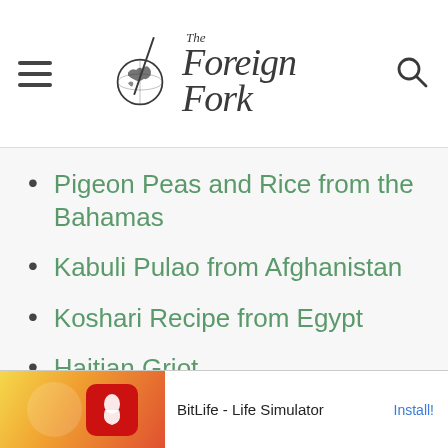The Foreign Fork
Pigeon Peas and Rice from the Bahamas
Kabuli Pulao from Afghanistan
Koshari Recipe from Egypt
Haitian Griot
If you make this recipe at
[Figure (screenshot): Ad banner for BitLife - Life Simulator with Install button]